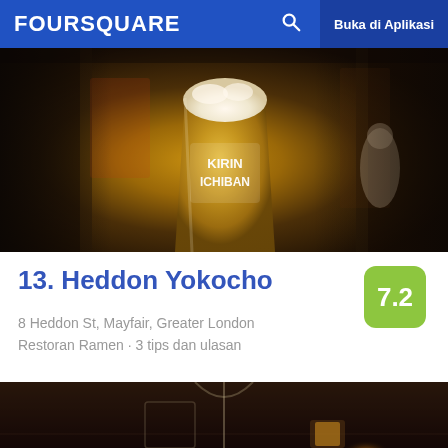FOURSQUARE  Buka di Aplikasi
[Figure (photo): Interior of Heddon Yokocho restaurant bar, showing a tall Kirin Ichiban beer glass in the foreground with a bustling bar scene in the background]
13. Heddon Yokocho
8 Heddon St, Mayfair, Greater London
Restoran Ramen · 3 tips dan ulasan
[Figure (photo): Dimly lit restaurant interior showing wine glasses, tumblers and a small candle on a dark wooden table]